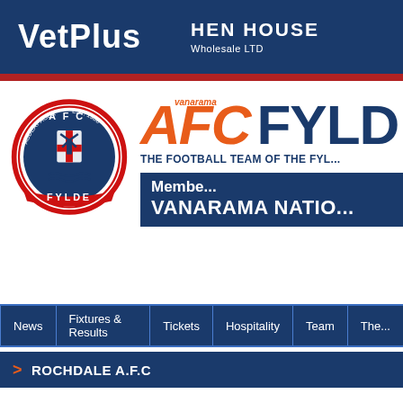VetPlus | HEN HOUSE Wholesale LTD
[Figure (logo): AFC Fylde football club crest - circular badge with red border, AFC text, windmill and ship imagery, FYLDE banner at bottom, EST 1988]
AFC FYLDE
THE FOOTBALL TEAM OF THE FYL...
Members of VANARAMA NATIONAL...
News
Fixtures & Results
Tickets
Hospitality
Team
The...
> ROCHDALE A.F.C
Fixtures
Re...